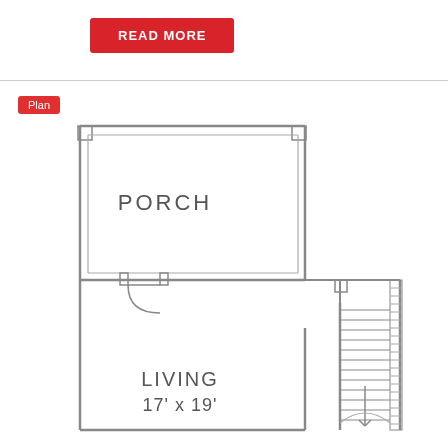[Figure (other): Red READ MORE button/banner]
[Figure (schematic): Hand-drawn architectural floor plan showing a PORCH room at top, a LIVING room (17' x 19') at bottom left with a door swing, and a staircase with hatching at the right side.]